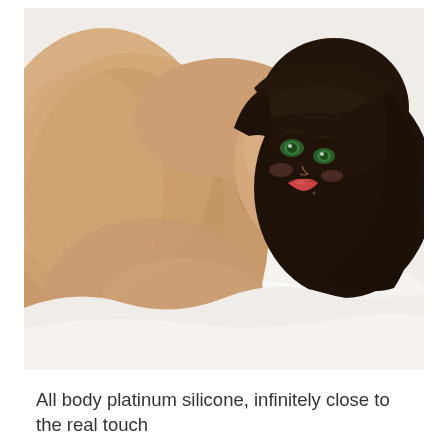[Figure (photo): A realistic silicone humanoid doll with dark short hair, green eyes, and skin-toned body, lying on a white fluffy surface. The doll is posed lying on its side facing the camera.]
All body platinum silicone, infinitely close to the real touch